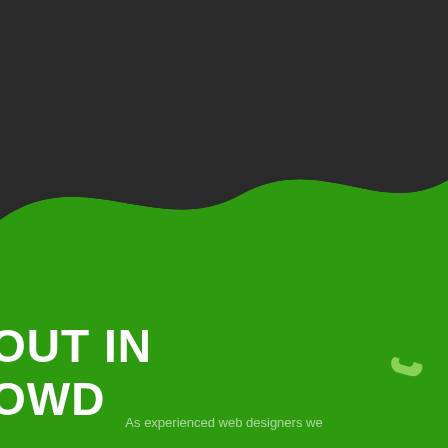[Figure (illustration): Dark background at top transitioning to green wave shape below, with a phone icon on the right side]
OUT IN THE CROWD
&
T
As experienced web designers we